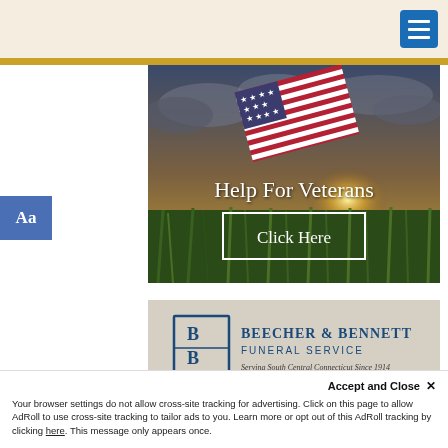[Figure (photo): American flag waving in a field at sunset with dramatic cloudy sky. Text overlay reads 'Help For Veterans' with a 'Click Here' button below it.]
[Figure (logo): Beecher & Bennett Funeral Service logo with text 'Serving South Central Connecticut Since 1914']
Accept and Close ✕
Your browser settings do not allow cross-site tracking for advertising. Click on this page to allow AdRoll to use cross-site tracking to tailor ads to you. Learn more or opt out of this AdRoll tracking by clicking here. This message only appears once.